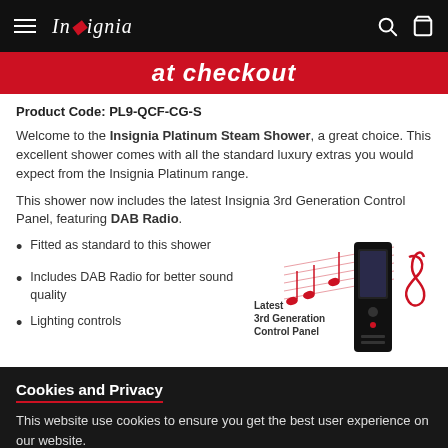Insignia
at checkout
Product Code: PL9-QCF-CG-S
Welcome to the Insignia Platinum Steam Shower, a great choice. This excellent shower comes with all the standard luxury extras you would expect from the Insignia Platinum range.
This shower now includes the latest Insignia 3rd Generation Control Panel, featuring DAB Radio.
Fitted as standard to this shower
Includes DAB Radio for better sound quality
Lighting controls
[Figure (illustration): Product image of Latest 3rd Generation Control Panel with musical notes decoration]
Cookies and Privacy
This website use cookies to ensure you get the best user experience on our website.